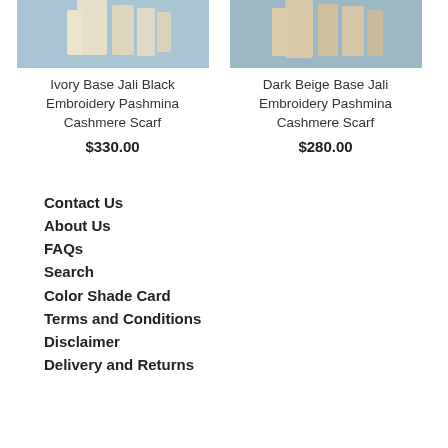[Figure (photo): Cropped photo of Ivory Base Jali Black Embroidery Pashmina Cashmere Scarf product image on blue background]
Ivory Base Jali Black Embroidery Pashmina Cashmere Scarf
$330.00
[Figure (photo): Cropped photo of Dark Beige Base Jali Embroidery Pashmina Cashmere Scarf product image on blue background]
Dark Beige Base Jali Embroidery Pashmina Cashmere Scarf
$280.00
Contact Us
About Us
FAQs
Search
Color Shade Card
Terms and Conditions
Disclaimer
Delivery and Returns